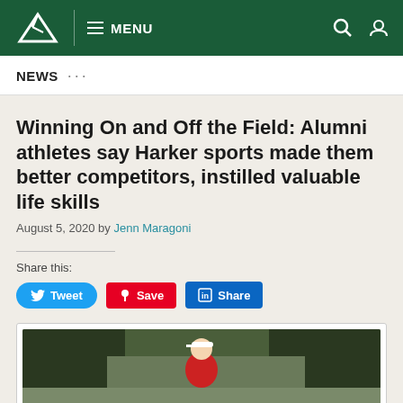MENU
NEWS ...
Winning On and Off the Field: Alumni athletes say Harker sports made them better competitors, instilled valuable life skills
August 5, 2020 by Jenn Maragoni
Share this:
[Figure (photo): Golfer in red shirt and white visor smiling on golf course with trees in background]